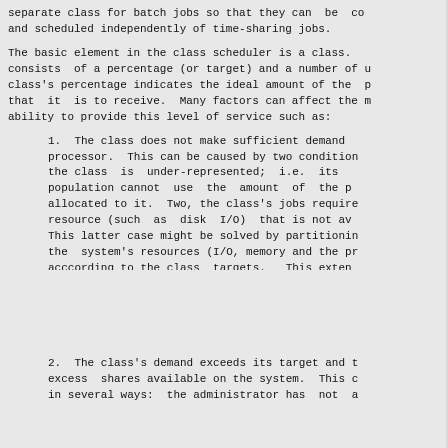separate class for batch jobs so that they can  be  co
and scheduled independently of time-sharing jobs.
The basic element in the class scheduler is a class.
consists  of a percentage (or target) and a number of u
class's percentage indicates the ideal amount of the  p
that  it  is to receive.  Many factors can affect the m
ability to provide this level of service such as:
1.  The class does not make sufficient demand
processor.  This can be caused by two condition
the class  is  under-represented;  i.e.  its
population cannot  use  the  amount  of  the p
allocated to it.  Two, the class's jobs require
resource (such  as  disk  I/O)  that is not av
This latter case might be solved by partitionin
the  system's resources (I/O, memory and the pr
acccording to the class  targets.   This exten
partitioning all of the system's resources acco
a common  formula  is  a  consideration  for  a
release of TOPS20.
2.  The class's demand exceeds its target and t
excess  shares available on the system.  This c
in several ways:  the administrator has  not  a